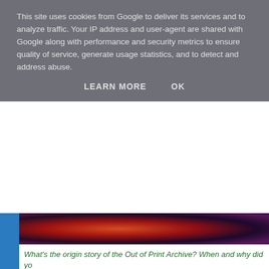This site uses cookies from Google to deliver its services and to analyze traffic. Your IP address and user-agent are shared with Google along with performance and security metrics to ensure quality of service, generate usage statistics, and to detect and address abuse.
LEARN MORE   OK
[Figure (photo): Gaming magazine artwork — orange/red and dark purple tones, appears to show fantasy or sci-fi game characters]
What's the origin story of the Out of Print Archive? When and why did yo...
Neil: I have always been a fan of classic gaming magazines which lead me to create a retro gaming magazine called Retroaction in 2008. After the release of the first issue, a retro gaming magazine fan commented on how the 'zine reminded him of GameFan, particularly its design and layout.
He asked if he could post the news of the release with a small write up on a forum where he was one of the admins along with Andy. This in turn introduced me to magazine archiving and to Andy and his fantastic method of archiving Official Sega... It was then that I wanted my own magazines to be archived in a similar way.
By 2009, we felt we needed to start our own archiving project. One that was free from ads, donations, or any other hindrance. Our main reason for this was one of our main goals, in that to reach out to the publishers from yesteryear...